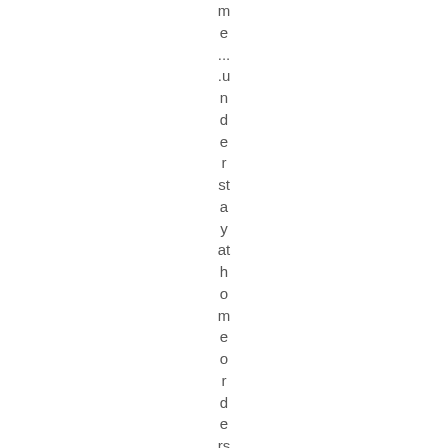me ... .understand stay at home or d e rs or qu